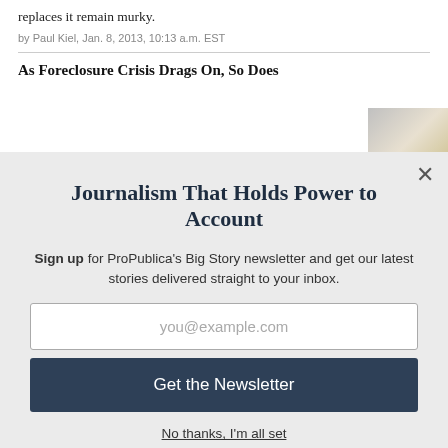replaces it remain murky.
by Paul Kiel, Jan. 8, 2013, 10:13 a.m. EST
As Foreclosure Crisis Drags On, So Does
Journalism That Holds Power to Account
Sign up for ProPublica's Big Story newsletter and get our latest stories delivered straight to your inbox.
you@example.com
Get the Newsletter
No thanks, I'm all set
This site is protected by reCAPTCHA and the Google Privacy Policy and Terms of Service apply.